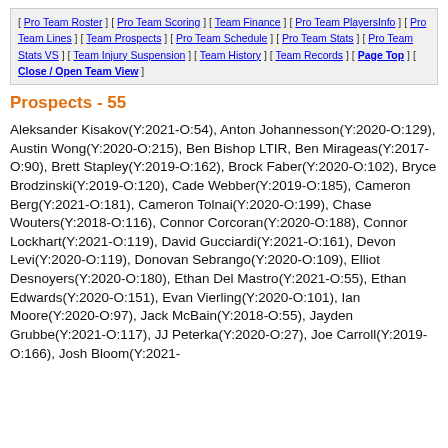[ Pro Team Roster ] [ Pro Team Scoring ] [ Team Finance ] [ Pro Team PlayersInfo ] [ Pro Team Lines ] [ Team Prospects ] [ Pro Team Schedule ] [ Pro Team Stats ] [ Pro Team Stats VS ] [ Team Injury Suspension ] [ Team History ] [ Team Records ] [ Page Top ] [ Close / Open Team View ]
Prospects - 55
Aleksander Kisakov(Y:2021-O:54), Anton Johannesson(Y:2020-O:129), Austin Wong(Y:2020-O:215), Ben Bishop LTIR, Ben Mirageas(Y:2017-O:90), Brett Stapley(Y:2019-O:162), Brock Faber(Y:2020-O:102), Bryce Brodzinski(Y:2019-O:120), Cade Webber(Y:2019-O:185), Cameron Berg(Y:2021-O:181), Cameron Tolnai(Y:2020-O:199), Chase Wouters(Y:2018-O:116), Connor Corcoran(Y:2020-O:188), Connor Lockhart(Y:2021-O:119), David Gucciardi(Y:2021-O:161), Devon Levi(Y:2020-O:119), Donovan Sebrango(Y:2020-O:109), Elliot Desnoyers(Y:2020-O:180), Ethan Del Mastro(Y:2021-O:55), Ethan Edwards(Y:2020-O:151), Evan Vierling(Y:2020-O:101), Ian Moore(Y:2020-O:97), Jack McBain(Y:2018-O:55), Jayden Grubbe(Y:2021-O:117), JJ Peterka(Y:2020-O:27), Joe Carroll(Y:2019-O:166), Josh Bloom(Y:2021-